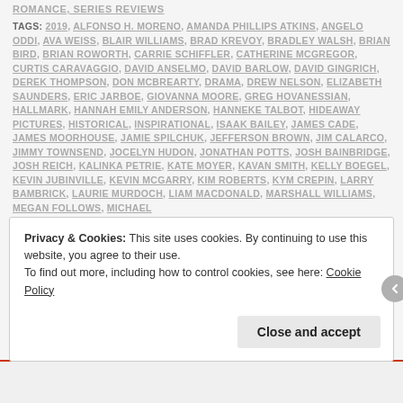ROMANCE, SERIES REVIEWS
TAGS: 2019, ALFONSO H. MORENO, AMANDA PHILLIPS ATKINS, ANGELO ODDI, AVA WEISS, BLAIR WILLIAMS, BRAD KREVOY, BRADLEY WALSH, BRIAN BIRD, BRIAN ROWORTH, CARRIE SCHIFFLER, CATHERINE MCGREGOR, CURTIS CARAVAGGIO, DAVID ANSELMO, DAVID BARLOW, DAVID GINGRICH, DEREK THOMPSON, DON MCBREARTY, DRAMA, DREW NELSON, ELIZABETH SAUNDERS, ERIC JARBOE, GIOVANNA MOORE, GREG HOVANESSIAN, HALLMARK, HANNAH EMILY ANDERSON, HANNEKE TALBOT, HIDEAWAY PICTURES, HISTORICAL, INSPIRATIONAL, ISAAK BAILEY, JAMES CADE, JAMES MOORHOUSE, JAMIE SPILCHUK, JEFFERSON BROWN, JIM CALARCO, JIMMY TOWNSEND, JOCELYN HUDON, JONATHAN POTTS, JOSH BAINBRIDGE, JOSH REICH, KALINKA PETRIE, KATE MOYER, KAVAN SMITH, KELLY BOEGEL, KEVIN JUBINVILLE, KEVIN MCGARRY, KIM ROBERTS, KYM CREPIN, LARRY BAMBRICK, LAURIE MURDOCH, LIAM MACDONALD, MARSHALL WILLIAMS, MEGAN FOLLOWS, MICHAEL
Privacy & Cookies: This site uses cookies. By continuing to use this website, you agree to their use.
To find out more, including how to control cookies, see here: Cookie Policy
Close and accept